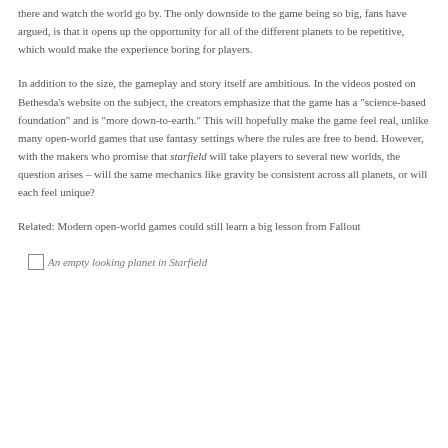there and watch the world go by. The only downside to the game being so big, fans have argued, is that it opens up the opportunity for all of the different planets to be repetitive, which would make the experience boring for players.
In addition to the size, the gameplay and story itself are ambitious. In the videos posted on Bethesda's website on the subject, the creators emphasize that the game has a "science-based foundation" and is "more down-to-earth." This will hopefully make the game feel real, unlike many open-world games that use fantasy settings where the rules are free to bend. However, with the makers who promise that starfield will take players to several new worlds, the question arises – will the same mechanics like gravity be consistent across all planets, or will each feel unique?
Related: Modern open-world games could still learn a big lesson from Fallout
[Figure (photo): An empty looking planet in Starfield — image placeholder with broken image icon]